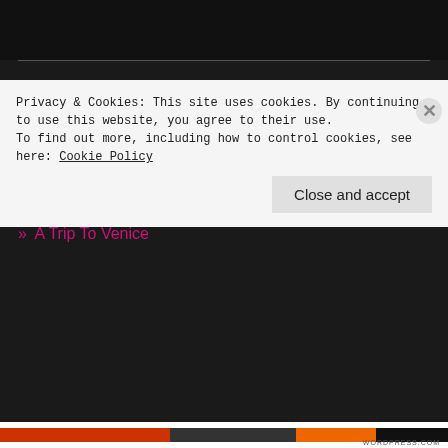RECENT POSTS
» Goodbye to South Africa and Hello to The Netherlands
» The Ups and Downs of Traveling
» So much more than I expected...
» A Small Part of My Life
» A Trip To Venice
Privacy & Cookies: This site uses cookies. By continuing to use this website, you agree to their use.
To find out more, including how to control cookies, see here: Cookie Policy
Close and accept